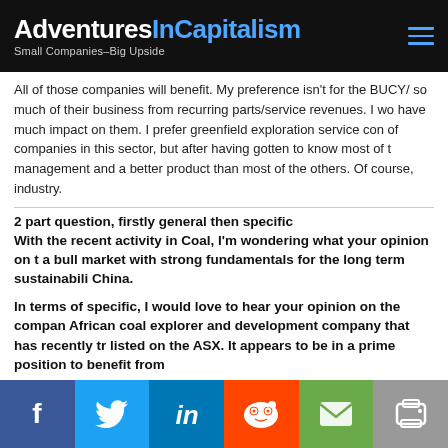AdventuresInCapitalism – Small Companies–Big Upside
All of those companies will benefit. My preference isn't for the BUCY/ so much of their business from recurring parts/service revenues. I wo have much impact on them. I prefer greenfield exploration service con of companies in this sector, but after having gotten to know most of t management and a better product than most of the others. Of course, industry.
2 part question, firstly general then specific
With the recent activity in Coal, I'm wondering what your opinion on t a bull market with strong fundamentals for the long term sustainabili China.
In terms of specific, I would love to hear your opinion on the compan African coal explorer and development company that has recently tr listed on the ASX. It appears to be in a prime position to benefit from
Coal isn't all that environmentally friendly, so it's sad to see its use gr